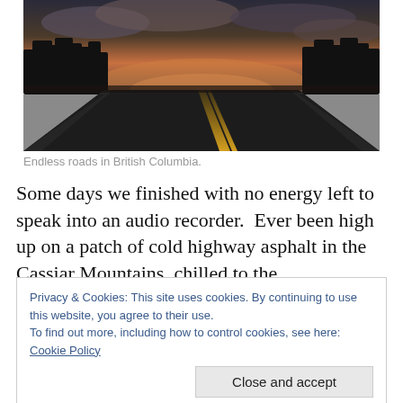[Figure (photo): A straight highway road stretching into the distance at dusk, with dark tree silhouettes on both sides, cloudy sky with warm sunset colors, and double yellow center lines on dark asphalt. Located in British Columbia.]
Endless roads in British Columbia.
Some days we finished with no energy left to speak into an audio recorder.  Ever been high up on a patch of cold highway asphalt in the Cassiar Mountains, chilled to the
Privacy & Cookies: This site uses cookies. By continuing to use this website, you agree to their use.
To find out more, including how to control cookies, see here: Cookie Policy
luck.  At least that is how I rationalize all of this fun to